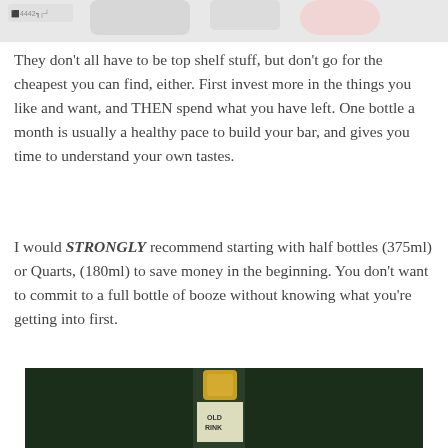[Figure (photo): Partial top image showing bottles/products, cropped at top of page]
They don't all have to be top shelf stuff, but don't go for the cheapest you can find, either. First invest more in the things you like and want, and THEN spend what you have left. One bottle a month is usually a healthy pace to build your bar, and gives you time to understand your own tastes.
I would STRONGLY recommend starting with half bottles (375ml) or Quarts, (180ml) to save money in the beginning. You don't want to commit to a full bottle of booze without knowing what you're getting into first.
[Figure (photo): Dark background image showing a bottle with gold cap, partially visible label reading 'OLD RINK' or similar]